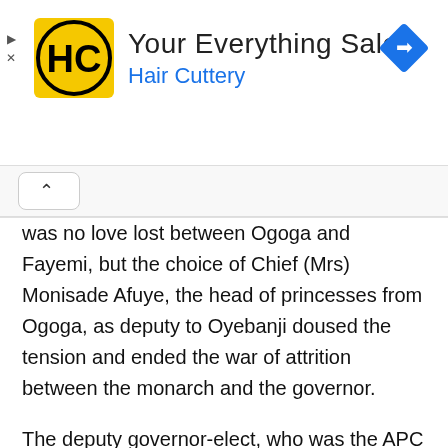[Figure (infographic): Hair Cuttery advertisement banner with logo, title 'Your Everything Salon', subtitle 'Hair Cuttery', a blue navigation arrow icon, and ad controls with play and close buttons.]
was no love lost between Ogoga and Fayemi, but the choice of Chief (Mrs) Monisade Afuye, the head of princesses from Ogoga, as deputy to Oyebanji doused the tension and ended the war of attrition between the monarch and the governor.
The deputy governor-elect, who was the APC Women Leader until her nomination as Oyebanji’s running mate was also used to strike gender balancing because women constitute 51 per cent of registered voters and also to assuage the feelings of Ekiti Southern Senatorial district that has been clamouring to govern the state since its creation.
It was also to the advantage of the APC that few weeks to